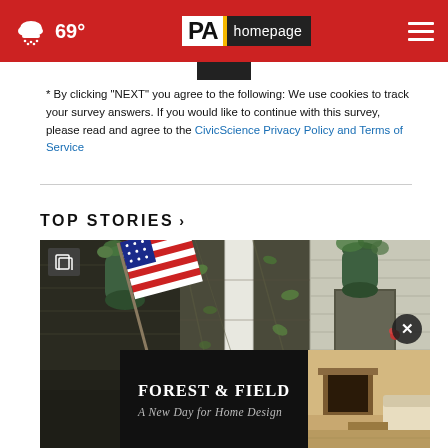69° PA homepage
* By clicking "NEXT" you agree to the following: We use cookies to track your survey answers. If you would like to continue with this survey, please read and agree to the CivicScience Privacy Policy and Terms of Service
TOP STORIES ›
[Figure (photo): Photo of a house porch with an American flag, hanging plants in dark green bags, vines on a trellis, and white siding. An ad banner for 'Forest & Field — A New Day for Home Design' overlays the bottom of the image.]